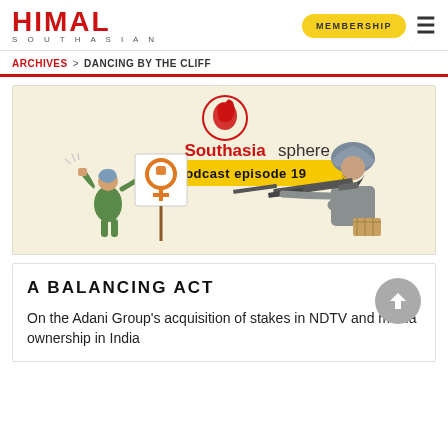HIMAL SOUTHASIAN — MEMBERSHIP
ARCHIVES > DANCING BY THE CLIFF
[Figure (illustration): Southasiasphere Podcast episode 19 illustration: A woman in headscarf raising fist holding a women's rights sign (female symbol with fist), and a bearded man in turban holding a gun, on a light beige background with the Himal Southasian logo at top.]
A BALANCING ACT
On the Adani Group's acquisition of stakes in NDTV and media ownership in India